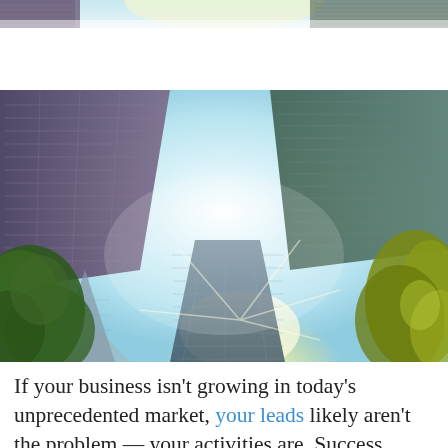[Figure (photo): Top cropped portion of an upward-looking photo of city skyscrapers with trees and bright sky, showing the very top edge of the image.]
[Figure (photo): Upward-angle photograph looking up at tall glass skyscrapers converging toward a bright sunlit sky in the center, with green trees visible on the left and right sides.]
If your business isn't growing in today's unprecedented market, your leads likely aren't the problem — your activities are. Success